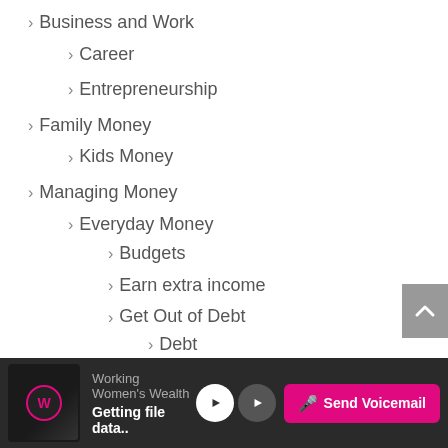> Business and Work
> Career
> Entrepreneurship
> Family Money
> Kids Money
> Managing Money
> Everyday Money
> Budgets
> Earn extra income
> Get Out of Debt
> Debt
> Saving
> Health and Wealth
Working Women's Wealth — Getting file data.. — Send Voicemail